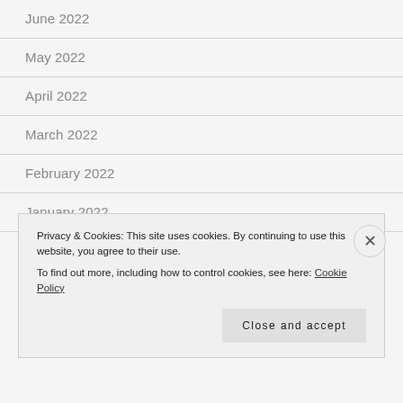June 2022
May 2022
April 2022
March 2022
February 2022
January 2022
December 2021
Privacy & Cookies: This site uses cookies. By continuing to use this website, you agree to their use.
To find out more, including how to control cookies, see here: Cookie Policy
Close and accept